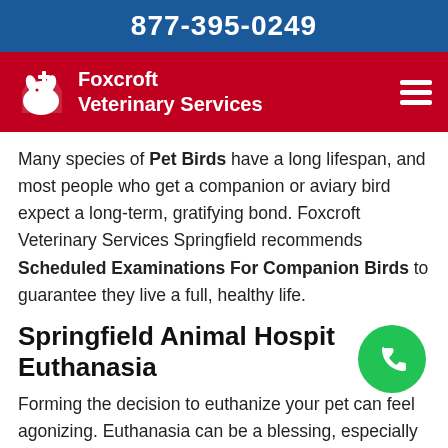877-395-0249
[Figure (logo): Foxcroft Veterinary Services logo with white dog/cat silhouette and plus sign on red background, with hamburger menu icon]
Many species of Pet Birds have a long lifespan, and most people who get a companion or aviary bird expect a long-term, gratifying bond. Foxcroft Veterinary Services Springfield recommends Scheduled Examinations For Companion Birds to guarantee they live a full, healthy life.
Springfield Animal Hospital Euthanasia
Forming the decision to euthanize your pet can feel agonizing. Euthanasia can be a blessing, especially when used to prevent upcoming Pain For Your Pet and suffering